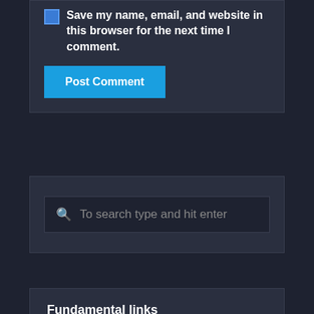Save my name, email, and website in this browser for the next time I comment.
Post Comment
To search type and hit enter
Fundamental links
FanRes forum
Original Trilogy